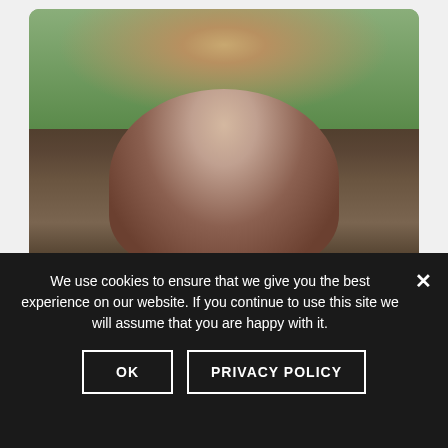[Figure (photo): A person wearing a brown hooded robe/cloak, looking surprised or alarmed, photographed outdoors with green trees in the background.]
Credit:sexyackles.livejournal
We use cookies to ensure that we give you the best experience on our website. If you continue to use this site we will assume that you are happy with it.
OK
PRIVACY POLICY